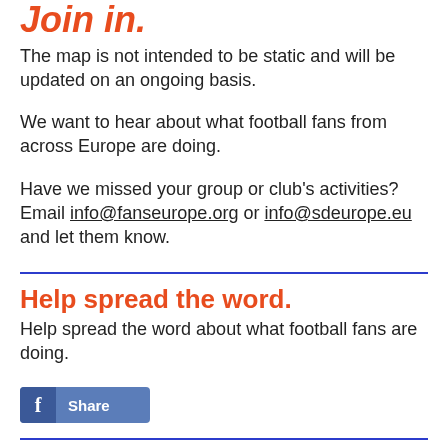Join in.
The map is not intended to be static and will be updated on an ongoing basis.
We want to hear about what football fans from across Europe are doing.
Have we missed your group or club's activities? Email info@fanseurope.org or info@sdeurope.eu and let them know.
Help spread the word.
Help spread the word about what football fans are doing.
[Figure (other): Facebook Share button with 'f' icon and Share label]